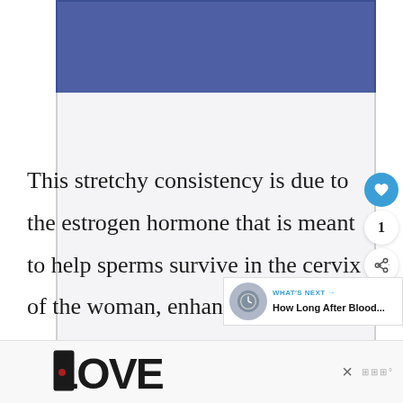[Figure (other): Blue banner advertisement area at top of page]
[Figure (other): Gray/white advertisement content area below blue banner with watermark logo]
This stretchy consistency is due to the estrogen hormone that is meant to help sperms survive in the cervix of the woman, enhancing the possibility of a
[Figure (other): Bottom advertisement bar with decorative LOVE text logo and close button and watermark]
[Figure (other): What's Next sidebar widget showing 'How Long After Blood...' article with thumbnail]
[Figure (other): UI sidebar with heart/like button showing count of 1 and share button]